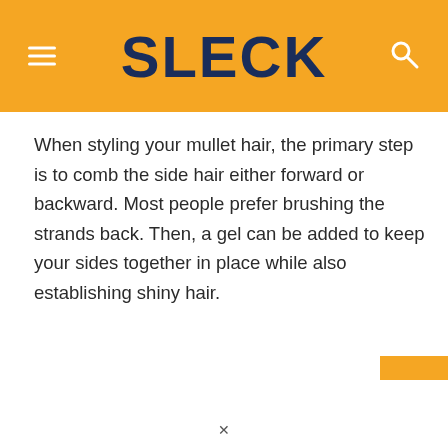SLECK
When styling your mullet hair, the primary step is to comb the side hair either forward or backward. Most people prefer brushing the strands back. Then, a gel can be added to keep your sides together in place while also establishing shiny hair.